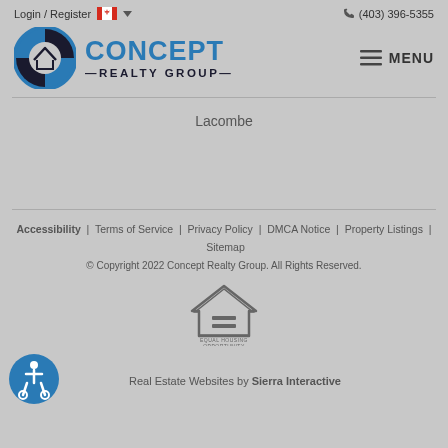Login / Register  (403) 396-5355
[Figure (logo): Concept Realty Group logo with circular blue and black icon and stylized text]
MENU
Lacombe
Accessibility | Terms of Service | Privacy Policy | DMCA Notice | Property Listings | Sitemap
© Copyright 2022 Concept Realty Group. All Rights Reserved.
[Figure (logo): Equal Housing Opportunity logo with house outline and equal sign]
[Figure (logo): Accessibility icon in blue circle]
Real Estate Websites by Sierra Interactive